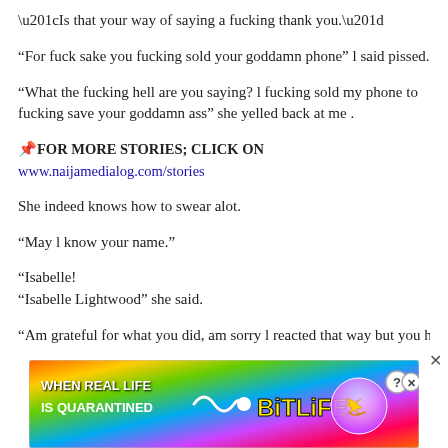“Is that your way of saying a fucking thank you.”
“For fuck sake you fucking sold your goddamn phone” l said pissed.
“What the fucking hell are you saying? l fucking sold my phone to fucking save your goddamn ass” she yelled back at me .
📌FOR MORE STORIES; CLICK ON www.naijamedialog.com/stories
She indeed knows how to swear alot.
“May l know your name.”
“Isabelle!
“Isabelle Lightwood” she said.
“Am grateful for what you did, am sorry l reacted that way but you hav
[Figure (infographic): BitLife mobile game advertisement banner with rainbow gradient background, text WHEN REAL LIFE IS QUARANTINED, BitLife logo, star character, close and help buttons]